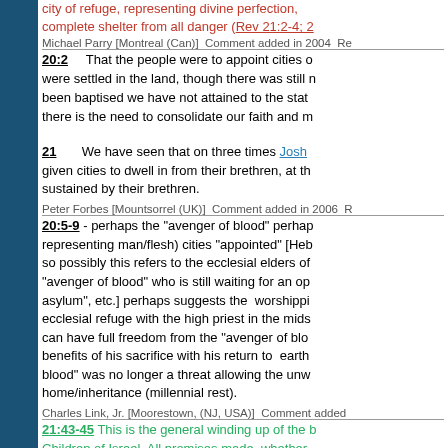city of refuge, representing divine perfection, complete shelter from all danger (Rev 21:2-4; 2...
Michael Parry [Montreal (Can)]  Comment added in 2004  Re...
20:2  That the people were to appoint cities of refuge when they were settled in the land, though there was still need... been baptised we have not attained to the stature... there is the need to consolidate our faith and m...
21  We have seen that on three times Josh... given cities to dwell in from their brethren, at th... sustained by their brethren.
Peter Forbes [Mountsorrel (UK)]  Comment added in 2006  R...
20:5-9 - perhaps the "avenger of blood" perhap... representing man/flesh) cities "appointed" [Heb... so possibly this refers to the ecclesial elders of "avenger of blood" who is still waiting for an op... asylum", etc.] perhaps suggests the  worshippi... ecclesial refuge with the high priest in the mids... can have full freedom from the "avenger of blo... benefits of his sacrifice with his return to  earth blood" was no longer a threat allowing the unw... home/inheritance (millennial rest).
Charles Link, Jr. [Moorestown, (NJ, USA)]  Comment added...
21:43-45  This is the general winding up of the b... Children of Israel. All promises made, whether ... fulfilled. The recorded experience of the Israeli... promises made will, in the appointed time be fu...
John Wilson [Toronto West (Can)]  Comment added in 2006